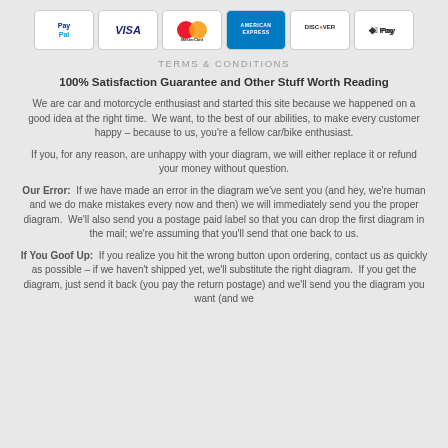[Figure (other): Payment method icons: PayPal, Visa, MasterCard, American Express, Discover, Apple Pay]
TERMS & CONDITIONS
100% Satisfaction Guarantee and Other Stuff Worth Reading
We are car and motorcycle enthusiast and started this site because we happened on a good idea at the right time. We want, to the best of our abilities, to make every customer happy – because to us, you're a fellow car/bike enthusiast.
If you, for any reason, are unhappy with your diagram, we will either replace it or refund your money without question.
Our Error: If we have made an error in the diagram we've sent you (and hey, we're human and we do make mistakes every now and then) we will immediately send you the proper diagram. We'll also send you a postage paid label so that you can drop the first diagram in the mail; we're assuming that you'll send that one back to us.
If You Goof Up: If you realize you hit the wrong button upon ordering, contact us as quickly as possible – if we haven't shipped yet, we'll substitute the right diagram. If you get the diagram, just send it back (you pay the return postage) and we'll send you the diagram you want (and we